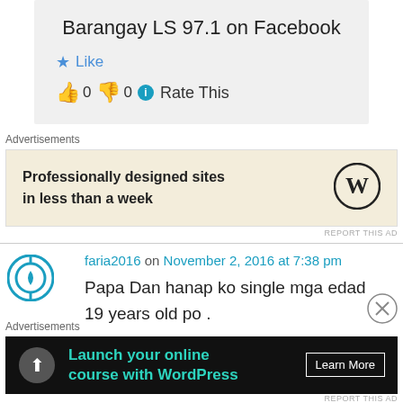Barangay LS 97.1 on Facebook
Like
👍 0 👎 0 ℹ Rate This
Advertisements
[Figure (screenshot): WordPress advertisement: Professionally designed sites in less than a week]
REPORT THIS AD
faria2016 on November 2, 2016 at 7:38 pm
Papa Dan hanap ko single mga edad 19 years old po .
Advertisements
[Figure (screenshot): WordPress advertisement: Launch your online course with WordPress - Learn More]